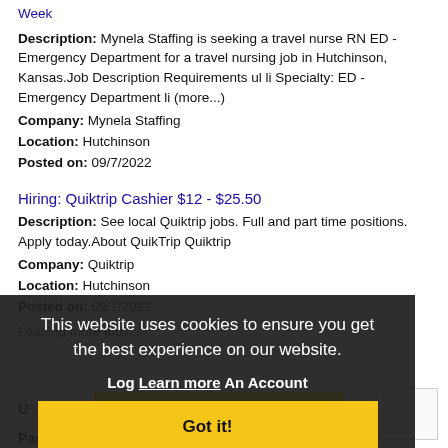Week
Description: Mynela Staffing is seeking a travel nurse RN ED - Emergency Department for a travel nursing job in Hutchinson, Kansas.Job Description Requirements ul li Specialty: ED - Emergency Department li (more...)
Company: Mynela Staffing
Location: Hutchinson
Posted on: 09/7/2022
Hiring: Quiktrip Cashier $12 - $25.50
Description: See local Quiktrip jobs. Full and part time positions. Apply today.About QuikTrip Quiktrip
Company: Quiktrip
Location: Hutchinson
Posted on: 09/7/2022
Loading more jobs...
This website uses cookies to ensure you get the best experience on our website.
Learn more
Log In: An Account
Got it!
Username:
Password: